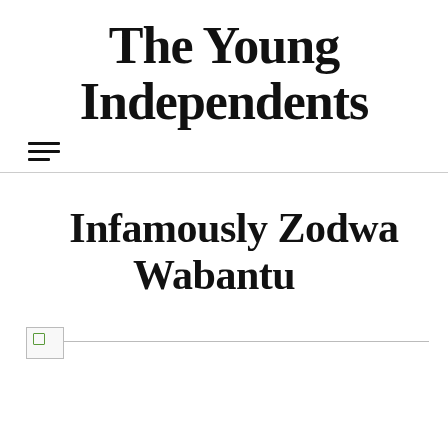The Young Independents
Infamously Zodwa Wabantu
[Figure (photo): Broken image placeholder with a small icon and horizontal line, indicating an image failed to load]